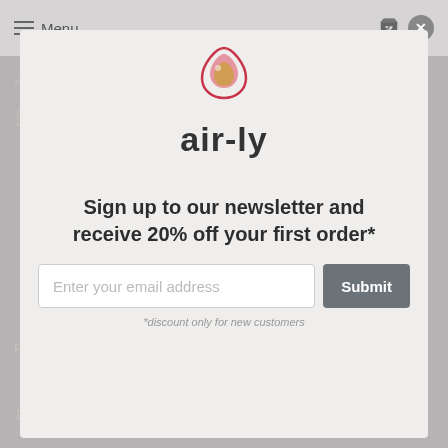Menu
[Figure (logo): Air-ly brand logo with droplet icon and stylized text 'air-ly']
Air-ly
£4.00
Sign up to our newsletter and receive 20% off your first order*
Enter your email address
Submit
*discount only for new customers
Raspberry Refill - Wooden Reusable Air Freshener Refill
1x 10ml oil refill